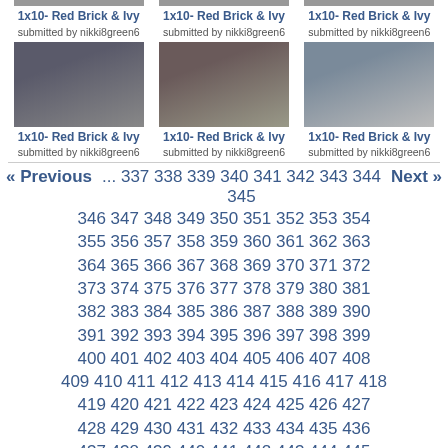[Figure (photo): Three thumbnail images of TV show stills (top row, partially cut off at top)]
1x10- Red Brick & Ivy
submitted by nikki8green6
1x10- Red Brick & Ivy
submitted by nikki8green6
1x10- Red Brick & Ivy
submitted by nikki8green6
[Figure (photo): Three thumbnail images of TV show stills (second row) with captions]
1x10- Red Brick & Ivy
submitted by nikki8green6
1x10- Red Brick & Ivy
submitted by nikki8green6
1x10- Red Brick & Ivy
submitted by nikki8green6
« Previous  ... 337 338 339 340 341 342 343 344 345  Next »
346 347 348 349 350 351 352 353 354
355 356 357 358 359 360 361 362 363
364 365 366 367 368 369 370 371 372
373 374 375 376 377 378 379 380 381
382 383 384 385 386 387 388 389 390
391 392 393 394 395 396 397 398 399
400 401 402 403 404 405 406 407 408
409 410 411 412 413 414 415 416 417 418
419 420 421 422 423 424 425 426 427
428 429 430 431 432 433 434 435 436
437 438 439 440 441 442 443 444 445
446 447 448 449 450 451 452 453 454
455 456 457 458 459 460 461 462 463
464 465 466 467 468 469 470 471 472